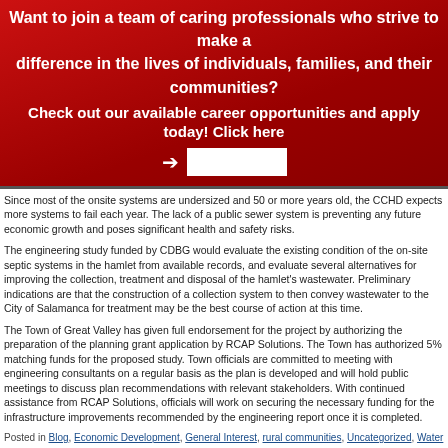[Figure (infographic): Red banner with white bold text: 'Want to join a team of caring professionals who strive to make a difference in the lives of individuals, families, and their communities? Check out our available career opportunities and apply today! Click here' with a right arrow and a white button.]
Since most of the onsite systems are undersized and 50 or more years old, the CCHD expects more systems to fail each year. The lack of a public sewer system is preventing any future economic growth and poses significant health and safety risks.
The engineering study funded by CDBG would evaluate the existing condition of the on-site septic systems in the hamlet from available records, and evaluate several alternatives for improving the collection, treatment and disposal of the hamlet's wastewater. Preliminary indications are that the construction of a collection system to then convey wastewater to the City of Salamanca for treatment may be the best course of action at this time.
The Town of Great Valley has given full endorsement for the project by authorizing the preparation of the planning grant application by RCAP Solutions. The Town has authorized 5% matching funds for the proposed study. Town officials are committed to meeting with engineering consultants on a regular basis as the plan is developed and will hold public meetings to discuss plan recommendations with relevant stakeholders. With continued assistance from RCAP Solutions, officials will work on securing the necessary funding for the infrastructure improvements recommended by the engineering report once it is completed.
Posted in Blog, Economic Development, General Interest, rural communities, Uncategorized, Water and wastewater | Tagged watershed to well | Leave a comment
Technical Assistance during a Boil Order
Posted on September 30, 2019 by admin